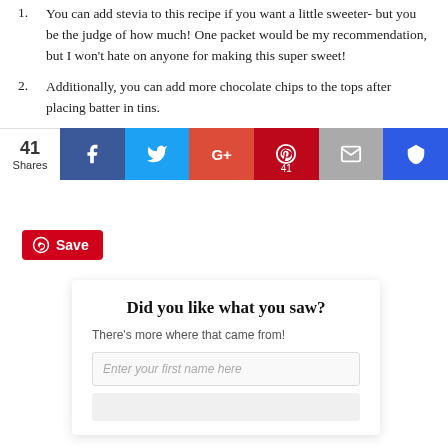1. You can add stevia to this recipe if you want a little sweeter- but you be the judge of how much! One packet would be my recommendation, but I won't hate on anyone for making this super sweet!
2. Additionally, you can add more chocolate chips to the tops after placing batter in tins.
3. Finally, you can add more cinnamon, or even some nutmeg if you want! It's up to you! Have fun with it!
[Figure (other): Pinterest Save button (red)]
Did you like what you saw?
There's more where that came from!
Enter your first name here
[Figure (other): Social sharing bar with 41 Shares, Facebook, Twitter, Google+, Pinterest (41), Email, Crown buttons]